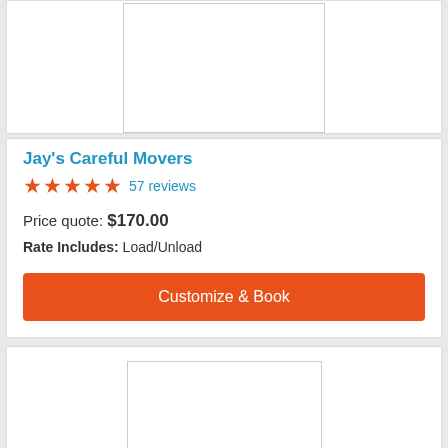[Figure (other): Company image placeholder for Jay's Careful Movers]
Jay's Careful Movers
★★★★★ 57 reviews
Price quote: $170.00
Rate Includes: Load/Unload
Customize & Book
[Figure (other): Company image placeholder for second listing]